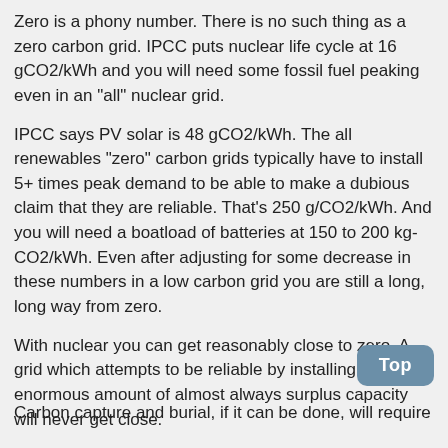Zero is a phony number. There is no such thing as a zero carbon grid. IPCC puts nuclear life cycle at 16 gCO2/kWh and you will need some fossil fuel peaking even in an "all" nuclear grid.
IPCC says PV solar is 48 gCO2/kWh. The all renewables "zero" carbon grids typically have to install 5+ times peak demand to be able to make a dubious claim that they are reliable. That's 250 g/CO2/kWh. And you will need a boatload of batteries at 150 to 200 kg-CO2/kWh. Even after adjusting for some decrease in these numbers in a low carbon grid you are still a long, long way from zero.
With nuclear you can get reasonably close to zero. A grid which attempts to be reliable by installing an enormous amount of almost always surplus capacity will never get close.
Carbon capture and burial, if it can be done, will require